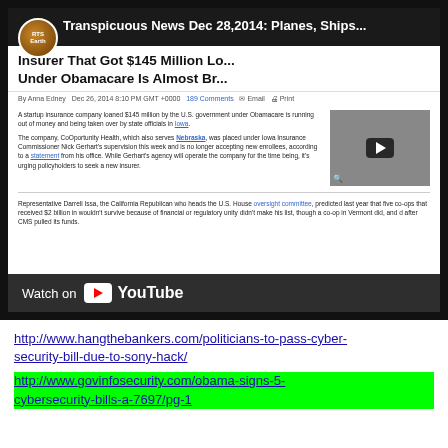[Figure (screenshot): YouTube video embed showing 'Transpicuous News Dec 28,2014: Planes, Ships...' with RTS Earth logo, overlaying a news article about an Obamacare insurer that got $145 Million loan going bankrupt. Includes 'Watch on YouTube' bar at bottom.]
http://www.hangthebankers.com/politicians-to-pass-cyber-security-bill-due-to-sony-hack/
http://www.govinfosecurity.com/obama-signs-5-cybersecurity-bills-a-7697/pg-1